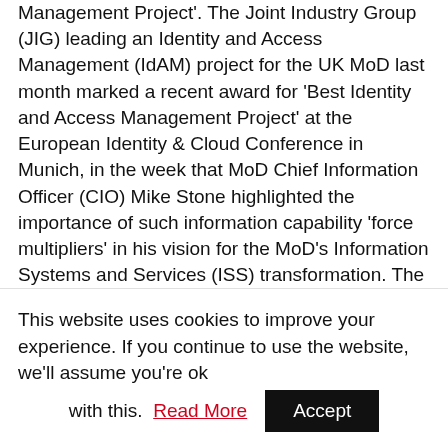Management Project'. The Joint Industry Group (JIG) leading an Identity and Access Management (IdAM) project for the UK MoD last month marked a recent award for 'Best Identity and Access Management Project' at the European Identity & Cloud Conference in Munich, in the week that MoD Chief Information Officer (CIO) Mike Stone highlighted the importance of such information capability 'force multipliers' in his vision for the MoD's Information Systems and Services (ISS) transformation. The IdAM project, which is set to transform the way in which data is shared across the MoD's entire supply chain, was jointly led by the MoD and industry working as part of the UKCeB
This website uses cookies to improve your experience. If you continue to use the website, we'll assume you're ok with this. Read More Accept